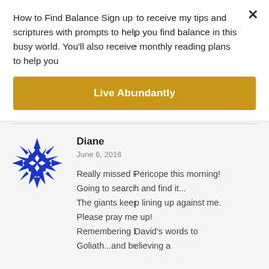How to Find Balance Sign up to receive my tips and scriptures with prompts to help you find balance in this busy world. You'll also receive monthly reading plans to help you
Live Abundantly
[Figure (illustration): Blue decorative star/compass-rose avatar icon for commenter Diane]
Diane
June 6, 2016
Really missed Pericope this morning! Going to search and find it...
The giants keep lining up against me. Please pray me up!
Remembering David's words to Goliath...and believing a